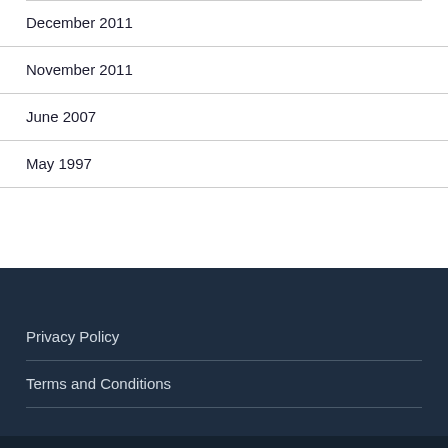December 2011
November 2011
June 2007
May 1997
Privacy Policy
Terms and Conditions